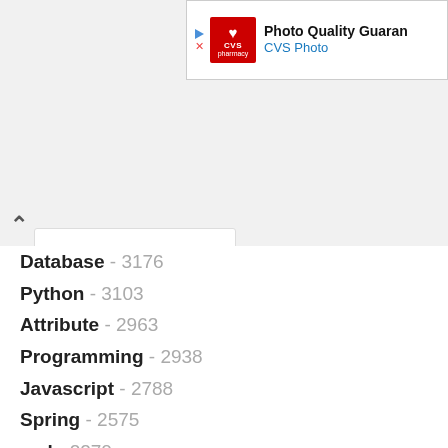[Figure (other): CVS Photo advertisement banner with logo and 'Photo Quality Guarantee' text]
Database - 3176
Python - 3103
Attribute - 2963
Programming - 2938
Javascript - 2788
Spring - 2575
xml - 2270
Android - 2243
Linux - 2204
JSON - 2150
less - 2137
network - 2115